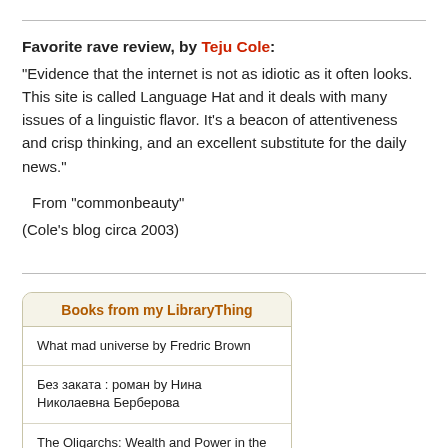Favorite rave review, by Teju Cole:
“Evidence that the internet is not as idiotic as it often looks. This site is called Language Hat and it deals with many issues of a linguistic flavor. It’s a beacon of attentiveness and crisp thinking, and an excellent substitute for the daily news.”
From “commonbeauty”
(Cole’s blog circa 2003)
| Books from my LibraryThing |
| --- |
| What mad universe by Fredric Brown |
| Без заката : роман by Нина Николаевна Берберова |
| The Oligarchs: Wealth and Power in the New Russia by David Hoffman |